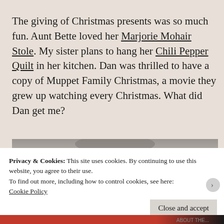The giving of Christmas presents was so much fun. Aunt Bette loved her Marjorie Mohair Stole. My sister plans to hang her Chili Pepper Quilt in her kitchen. Dan was thrilled to have a copy of Muppet Family Christmas, a movie they grew up watching every Christmas. What did Dan get me?
[Figure (photo): Partial photo of an item, cropped at the top of the cookie banner]
Privacy & Cookies: This site uses cookies. By continuing to use this website, you agree to their use.
To find out more, including how to control cookies, see here:
Cookie Policy
Close and accept